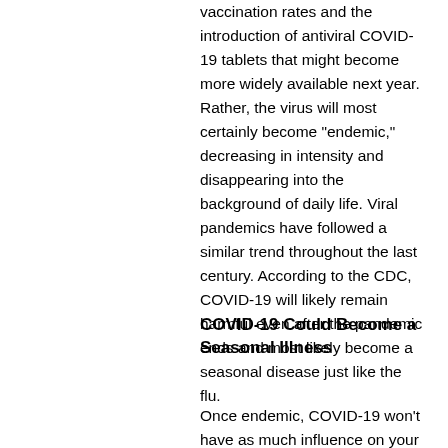vaccination rates and the introduction of antiviral COVID-19 tablets that might become more widely available next year. Rather, the virus will most certainly become "endemic," decreasing in intensity and disappearing into the background of daily life. Viral pandemics have followed a similar trend throughout the last century. According to the CDC, COVID-19 will likely remain harmful even after the pandemic ends and most likely become a seasonal disease just like the flu.
COVID-19 Could Become a Seasonal Illness
Once endemic, COVID-19 won't have as much influence on your daily decisions